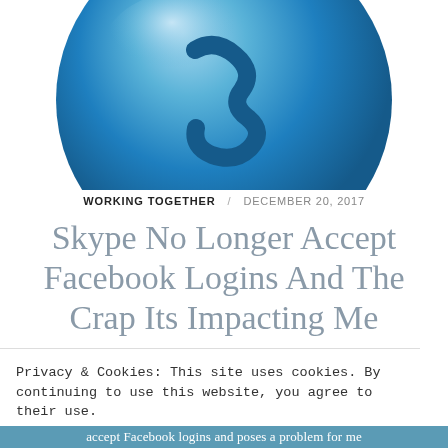[Figure (illustration): Blue glossy 3D bubble/sphere icon, partially cropped at top, centered on white background]
WORKING TOGETHER  DECEMBER 20, 2017
Skype No Longer Accept Facebook Logins And The Crap Its Impacting Me
Privacy & Cookies: This site uses cookies. By continuing to use this website, you agree to their use.
To find out more, including how to control cookies, see here: Cookie Policy
Close and accept
accept Facebook logins and poses a problem for me